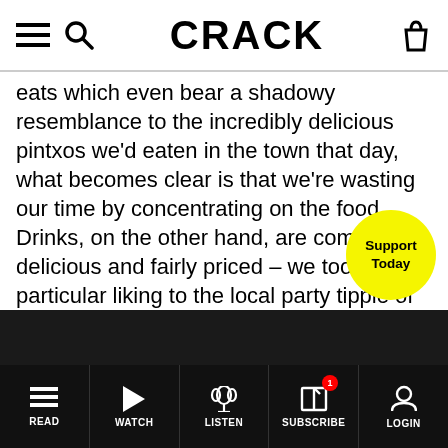CRACK
eats which even bear a shadowy resemblance to the incredibly delicious pintxos we'd eaten in the town that day, what becomes clear is that we're wasting our time by concentrating on the food. Drinks, on the other hand, are completely delicious and fairly priced – we took a particular liking to the local party tipple of Kalimotxo, a crude cocktail made with equal parts cheap red wine and cola. This new and strange concept could be bought a litre at a time, alongside similarly enormous beers, giant free-pour 'gintonics' and cheap, cold glasses of Basque white wine.
READ WATCH LISTEN SUBSCRIBE LOGIN